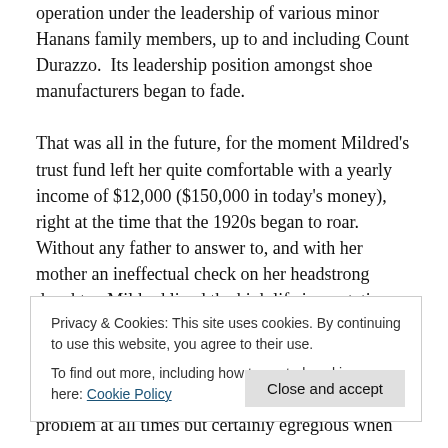operation under the leadership of various minor Hanans family members, up to and including Count Durazzo.  Its leadership position amongst shoe manufacturers began to fade.
That was all in the future, for the moment Mildred's trust fund left her quite comfortable with a yearly income of $12,000 ($150,000 in today's money), right at the time that the 1920s began to roar.  Without any father to answer to, and with her mother an ineffectual check on her headstrong daughter, Mildred lived the high life in a rotating whirly gig of restaurants, speakeasies and
Privacy & Cookies: This site uses cookies. By continuing to use this website, you agree to their use.
To find out more, including how to control cookies, see here: Cookie Policy
problem at all times but certainly egregious when